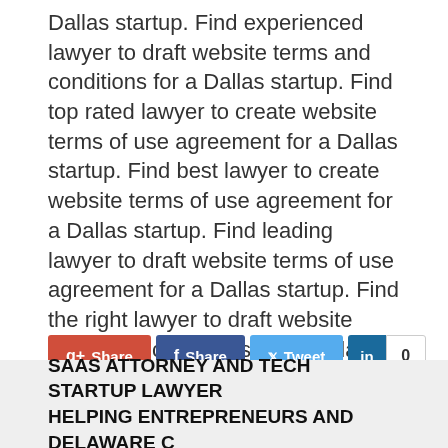Dallas startup. Find experienced lawyer to draft website terms and conditions for a Dallas startup. Find top rated lawyer to create website terms of use agreement for a Dallas startup. Find best lawyer to create website terms of use agreement for a Dallas startup. Find leading lawyer to draft website terms of use agreement for a Dallas startup. Find the right lawyer to draft website terms and conditions for a Dallas startup.
[Figure (other): Social sharing buttons: Google+ Share, Facebook Share, Twitter Tweet, LinkedIn with count 0]
SAAS ATTORNEY AND TECH STARTUP LAWYER HELPING ENTREPRENEURS AND DELAWARE C